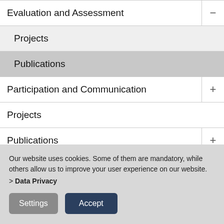Evaluation and Assessment −
Projects
Publications
Participation and Communication +
Projects
Publications +
Events
Our website uses cookies. Some of them are mandatory, while others allow us to improve your user experience on our website. > Data Privacy
Settings
Accept